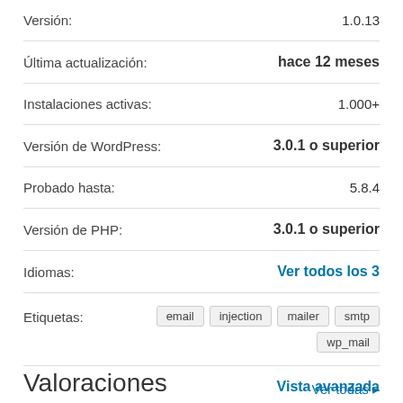| Campo | Valor |
| --- | --- |
| Versión: | 1.0.13 |
| Última actualización: | hace 12 meses |
| Instalaciones activas: | 1.000+ |
| Versión de WordPress: | 3.0.1 o superior |
| Probado hasta: | 5.8.4 |
| Versión de PHP: | 3.0.1 o superior |
| Idiomas: | Ver todos los 3 |
| Etiquetas: | email injection mailer smtp wp_mail |
Vista avanzada
Valoraciones
Ver todas ▸